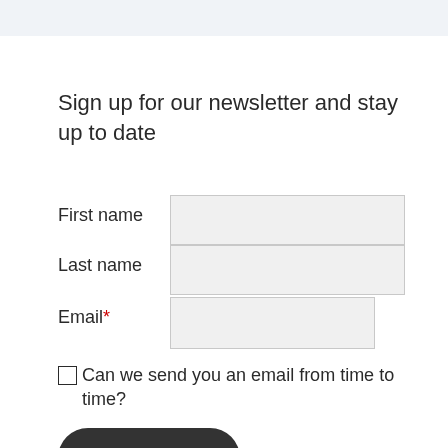Sign up for our newsletter and stay up to date
First name
Last name
Email*
Can we send you an email from time to time?
Subscribe